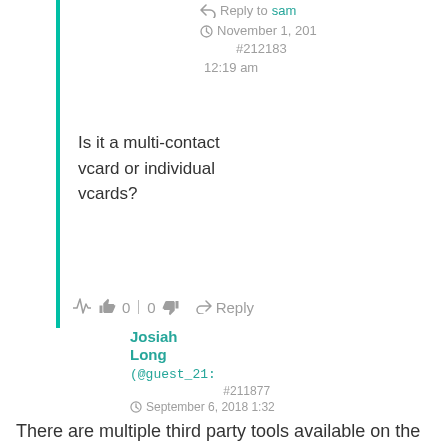Reply to sam
November 1, 201 #212183 12:19 am
Is it a multi-contact vcard or individual vcards?
0 | 0   Reply
Josiah Long (@guest_21: #211877 September 6, 2018 1:32
There are multiple third party tools available on the internet, you just need to find right solution. i have used Softaken Vcard to Outlook Converter tool when i required same issue and got accurate result. You can convert multiple vcard files to Outlook PST at once time without losing any